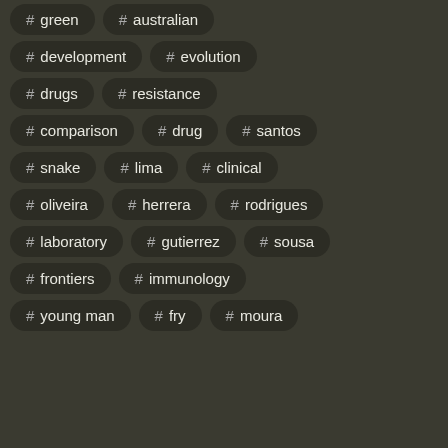# green
# australian
# development
# evolution
# drugs
# resistance
# comparison
# drug
# santos
# snake
# lima
# clinical
# oliveira
# herrera
# rodrigues
# laboratory
# gutierrez
# sousa
# frontiers
# immunology
# young man
# fry
# moura